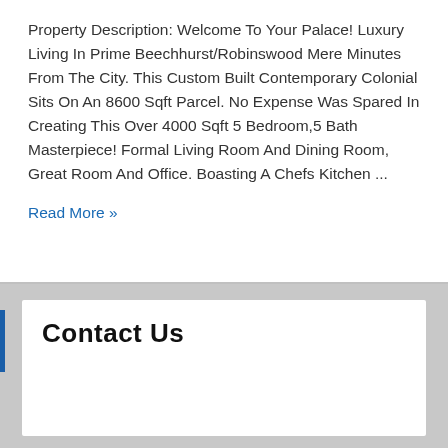Property Description: Welcome To Your Palace! Luxury Living In Prime Beechhurst/Robinswood Mere Minutes From The City. This Custom Built Contemporary Colonial Sits On An 8600 Sqft Parcel. No Expense Was Spared In Creating This Over 4000 Sqft 5 Bedroom,5 Bath Masterpiece! Formal Living Room And Dining Room, Great Room And Office. Boasting A Chefs Kitchen ...
Read More »
Contact Us